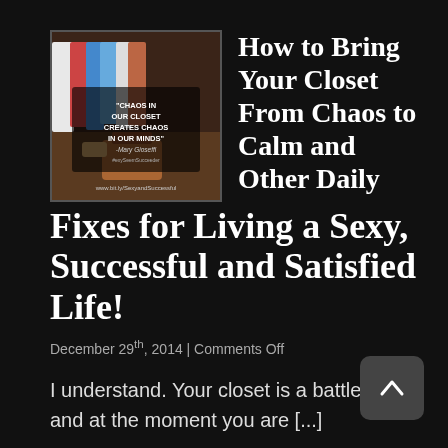[Figure (photo): Photo of a messy closet with colorful clothes, overlaid with a quote: 'CHAOS IN OUR CLOSET CREATES CHAOS IN OUR MINDS' - Mary Gioseffi, with URL www.bit.ly/SexyandSuccessful]
How to Bring Your Closet From Chaos to Calm and Other Daily Fixes for Living a Sexy, Successful and Satisfied Life!
December 29th, 2014 | Comments Off
I understand. Your closet is a battlefield…and at the moment you are [...]